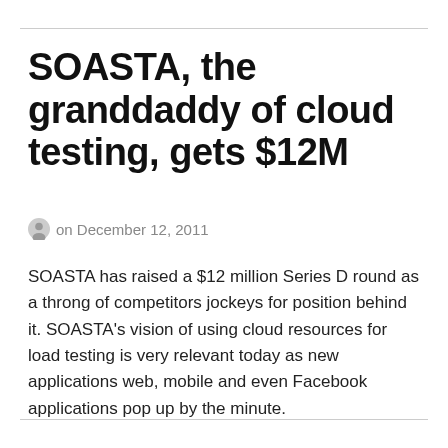SOASTA, the granddaddy of cloud testing, gets $12M
on December 12, 2011
SOASTA has raised a $12 million Series D round as a throng of competitors jockeys for position behind it. SOASTA's vision of using cloud resources for load testing is very relevant today as new applications web, mobile and even Facebook applications pop up by the minute.